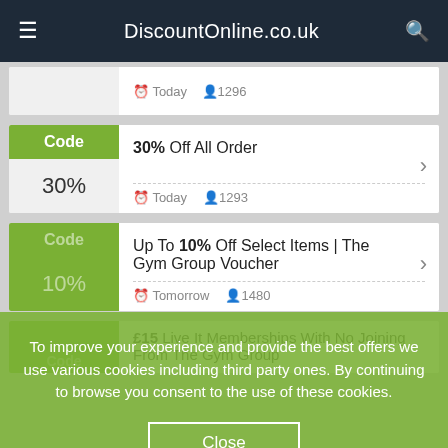DiscountOnline.co.uk
Today  1296
30% Off All Order
Code  30%
Today  1293
Up To 10% Off Select Items | The Gym Group Voucher
Code  10%
Tomorrow  1480
£15 Live It Memberships With No Joining From The Gym Group
To improve your experience and provide the best offers we use various cookies including third party ones. By continuing to browse you consent to the use of these cookies.
Close